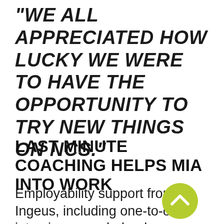"WE ALL APPRECIATED HOW LUCKY WE WERE TO HAVE THE OPPORTUNITY TO TRY NEW THINGS ON NCS."
LAST MINUTE COACHING HELPS MIA INTO WORK
Employability support from Ingeus, including one-to-one interview prep, helped
[Figure (illustration): Yellow-green circular button with a white upward chevron arrow icon]